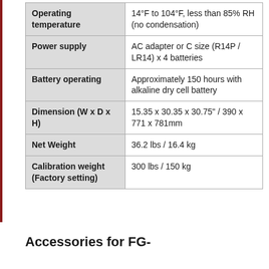| Specification | Value |
| --- | --- |
| Operating temperature | 14°F to 104°F, less than 85% RH (no condensation) |
| Power supply | AC adapter or C size (R14P / LR14) x 4 batteries |
| Battery operating | Approximately 150 hours with alkaline dry cell battery |
| Dimension (W x D x H) | 15.35 x 30.35 x 30.75" / 390 x 771 x 781mm |
| Net Weight | 36.2 lbs / 16.4 kg |
| Calibration weight (Factory setting) | 300 lbs / 150 kg |
Accessories for FG-